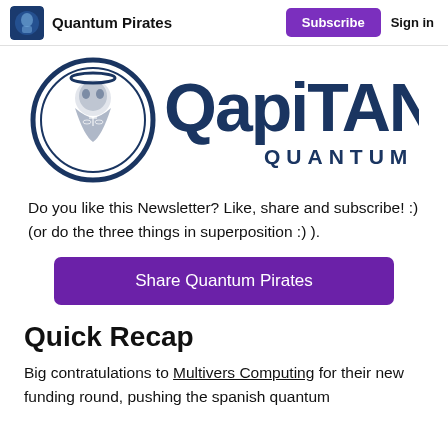Quantum Pirates | Subscribe | Sign in
[Figure (logo): QapiTAN Quantum logo: circular emblem with a bearded figure and halo on the left, large stylized 'QapiTAN' text with 'QUANTUM' below on the right, dark navy blue color scheme]
Do you like this Newsletter? Like, share and subscribe! :) (or do the three things in superposition :) ).
Share Quantum Pirates
Quick Recap
Big contratulations to Multivers Computing for their new funding round, pushing the spanish quantum